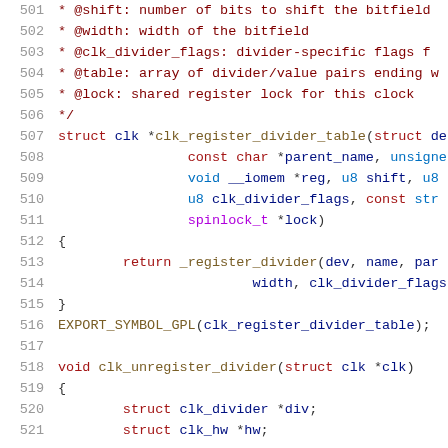[Figure (screenshot): Source code screenshot showing C code lines 501-521 of a Linux kernel clock divider driver, with syntax highlighting. Lines show function documentation comments and implementations for clk_register_divider_table and clk_unregister_divider functions.]